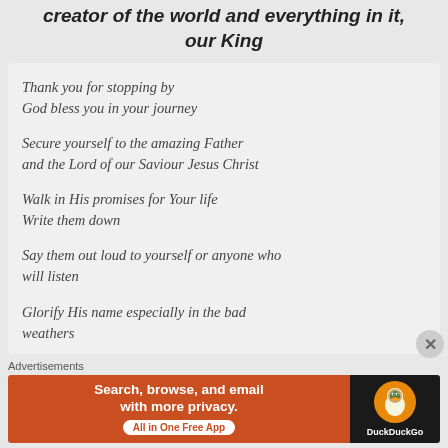creator of the world and everything in it, our King
Thank you for stopping by
God bless you in your journey

Secure yourself to the amazing Father
and the Lord of our Saviour Jesus Christ

Walk in His promises for Your life
Write them down

Say them out loud to yourself or anyone who will listen

Glorify His name especially in the bad weathers
Advertisements
[Figure (screenshot): DuckDuckGo advertisement banner: orange background on left with text 'Search, browse, and email with more privacy. All in One Free App', dark background on right with DuckDuckGo duck logo and brand name.]